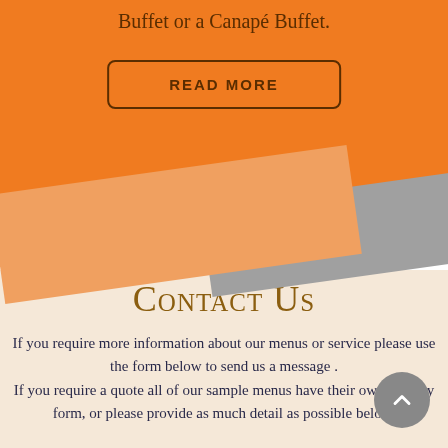Buffet or a Canapé Buffet.
READ MORE
[Figure (illustration): Decorative diagonal orange and gray banner shapes separating page sections]
Contact Us
If you require more information about our menus or service please use the form below to send us a message . If you require a quote all of our sample menus have their own enquiry form, or please provide as much detail as possible below.